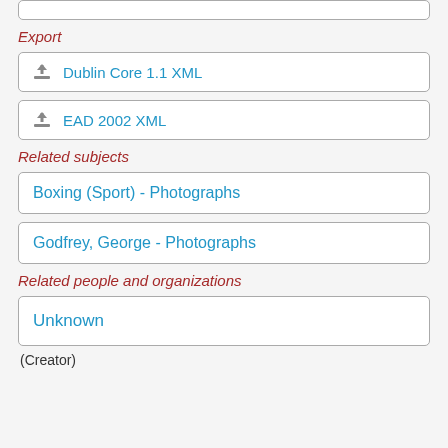Export
Dublin Core 1.1 XML
EAD 2002 XML
Related subjects
Boxing (Sport) - Photographs
Godfrey, George - Photographs
Related people and organizations
Unknown
(Creator)